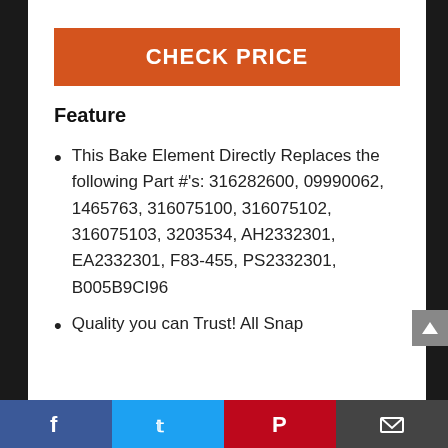[Figure (illustration): Partial logo/graphic visible at the top of the page, clipped]
CHECK PRICE
Feature
This Bake Element Directly Replaces the following Part #'s: 316282600, 09990062, 1465763, 316075100, 316075102, 316075103, 3203534, AH2332301, EA2332301, F83-455, PS2332301, B005B9CI96
Quality you can Trust! All Snap...
[Figure (infographic): Social media share bar at the bottom with Facebook, Twitter, Pinterest, and email icons]